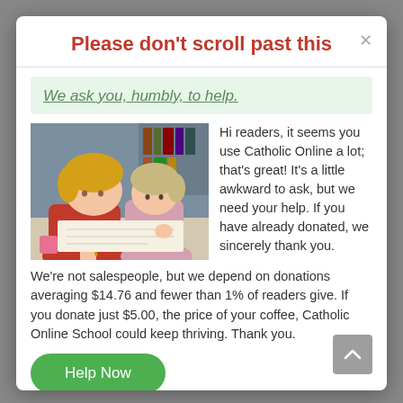Please don't scroll past this
We ask you, humbly, to help.
[Figure (photo): Two young girls writing or drawing together at a desk, one in a red jacket and one with light hair, working on a book or worksheet.]
Hi readers, it seems you use Catholic Online a lot; that's great! It's a little awkward to ask, but we need your help. If you have already donated, we sincerely thank you.
We're not salespeople, but we depend on donations averaging $14.76 and fewer than 1% of readers give. If you donate just $5.00, the price of your coffee, Catholic Online School could keep thriving. Thank you.
Help Now